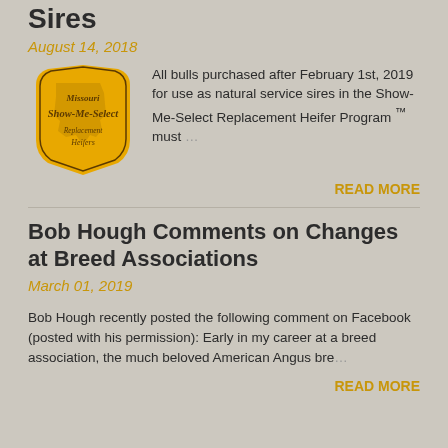Sires
August 14, 2018
[Figure (logo): Missouri Show-Me-Select Replacement Heifers logo — yellow badge shape with Missouri state outline and cursive text]
All bulls purchased after February 1st, 2019 for use as natural service sires in the Show-Me-Select Replacement Heifer Program ™ must …
READ MORE
Bob Hough Comments on Changes at Breed Associations
March 01, 2019
Bob Hough recently posted the following comment on Facebook (posted with his permission): Early in my career at a breed association, the much beloved American Angus bre…
READ MORE